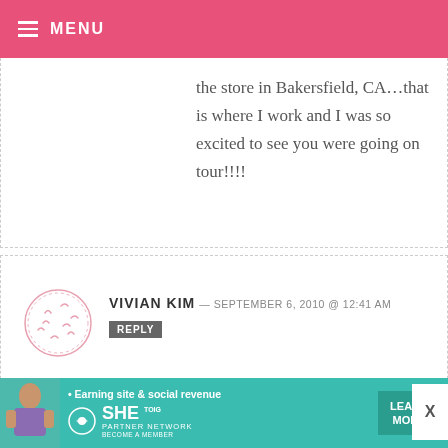MENU
...the store in Bakersfield, CA...that is where I work and I was so excited to see you were going on tour!!!!
VIVIAN KIM — SEPTEMBER 6, 2010 @ 12:41 AM
REPLY
even though i can’t make it to any one of your signings.. ):
hope you have fun
and meet a LOT of your fans! ^^
[Figure (illustration): Circular avatar placeholder with small curved lines inside]
[Figure (infographic): SHE Partner Network advertisement banner with teal background, woman photo, tagline 'Earning site & social revenue', SHE logo, LEARN MORE button]